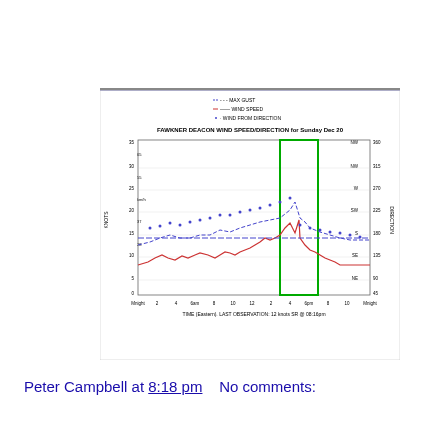[Figure (continuous-plot): FAWKNER DEACON WIND SPEED/DIRECTION for Sunday Dec 20. Line chart showing wind speed (red solid line), max gust (blue dashed line), and wind from direction (blue dots) over 24 hours. A green rectangle highlights the period around 4-6pm. Left y-axis: KNOTS (0-35), right y-axis: DIRECTION (degrees, NE to NW). X-axis: TIME (Eastern). LAST OBSERVATION: 12 knots SR @ 08:16pm.]
Peter Campbell at 8:18 pm   No comments:
Share